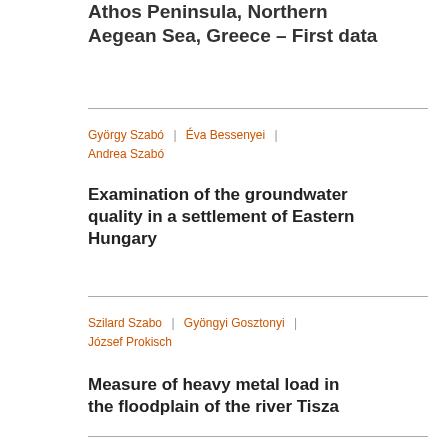Athos Peninsula, Northern Aegean Sea, Greece – First data
György Szabó | Éva Bessenyei | Andrea Szabó
Examination of the groundwater quality in a settlement of Eastern Hungary
Szilard Szabo | Gyöngyi Gosztonyi | József Prokisch
Measure of heavy metal load in the floodplain of the river Tisza